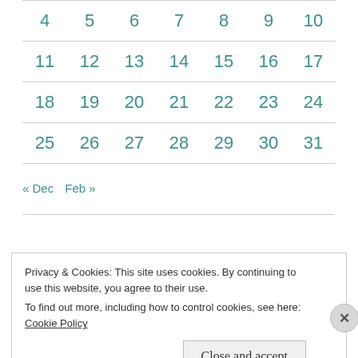| 4 | 5 | 6 | 7 | 8 | 9 | 10 |
| 11 | 12 | 13 | 14 | 15 | 16 | 17 |
| 18 | 19 | 20 | 21 | 22 | 23 | 24 |
| 25 | 26 | 27 | 28 | 29 | 30 | 31 |
« Dec   Feb »
Privacy & Cookies: This site uses cookies. By continuing to use this website, you agree to their use. To find out more, including how to control cookies, see here: Cookie Policy
Close and accept